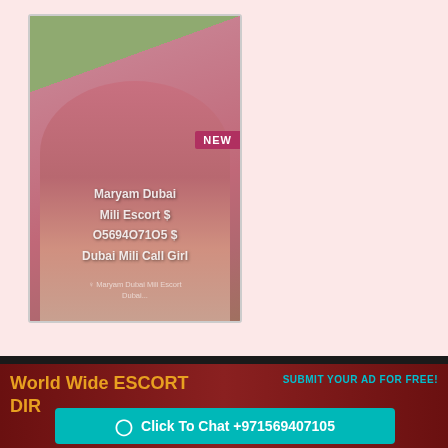[Figure (photo): Photo card of a woman in a pink/magenta outfit sitting on a wicker sofa with plants in background, overlaid with text: 'Maryam Dubai Mili Escort $ O5694O71O5 $ Dubai Mili Call Girl'. A 'NEW' badge appears in the upper right of the card. Watermark text visible at the bottom.]
World Wide ESCORT DIR
SUBMIT YOUR AD FOR FREE!
Click To Chat +971569407105